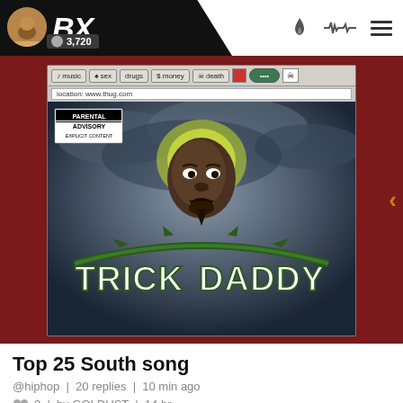BX | 3,720
[Figure (screenshot): Screenshot of a website with toolbar buttons (music, sex, drugs, money, death) and album art for Trick Daddy showing a rapper with a halo and the text TRICK DADDY over a dark cloudy background]
Top 25 South song
@hiphop | 20 replies | 10 min ago
3 | by GOLDUST | 14 hr
most viewed right now